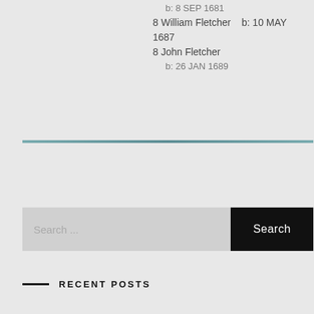b: 8 SEP 1681
8 William Fletcher   b: 10 MAY 1687
8 John Fletcher
b: 26 JAN 1689
Search ...
Search
RECENT POSTS